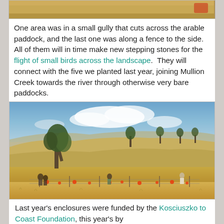[Figure (photo): Top partial strip of a photo showing dried golden landscape, partially cropped at top of page]
One area was in a small gully that cuts across the arable paddock, and the last one was along a fence to the side.  All of them will in time make new stepping stones for the flight of small birds across the landscape.  They will connect with the five we planted last year, joining Mullion Creek towards the river through otherwise very bare paddocks.
[Figure (photo): Landscape photo of a dry golden hillside with scattered trees, blue sky with clouds, and people working along a fence line planting enclosures with orange markers visible]
Last year's enclosures were funded by the Kosciuszko to Coast Foundation, this year's by